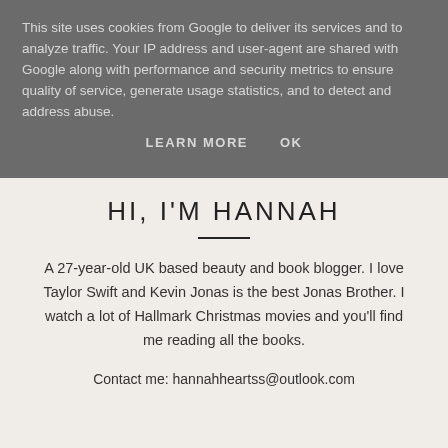This site uses cookies from Google to deliver its services and to analyze traffic. Your IP address and user-agent are shared with Google along with performance and security metrics to ensure quality of service, generate usage statistics, and to detect and address abuse.
LEARN MORE    OK
HI, I'M HANNAH
A 27-year-old UK based beauty and book blogger. I love Taylor Swift and Kevin Jonas is the best Jonas Brother. I watch a lot of Hallmark Christmas movies and you'll find me reading all the books.
Contact me: hannahheartss@outlook.com